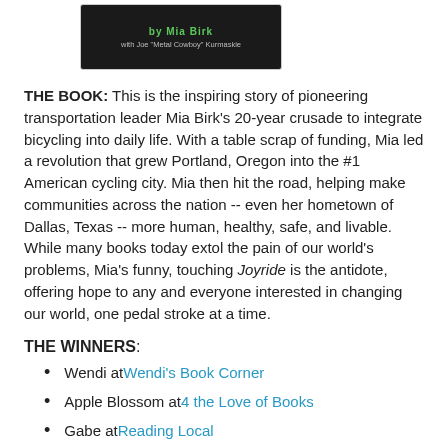[Figure (photo): Book cover image for 'Joyride' by Mia Birk, with Joe 'Metal Cowboy' Kurmaskie, shown as a dark cover image at the top of the page]
THE BOOK: This is the inspiring story of pioneering transportation leader Mia Birk's 20-year crusade to integrate bicycling into daily life. With a table scrap of funding, Mia led a revolution that grew Portland, Oregon into the #1 American cycling city. Mia then hit the road, helping make communities across the nation -- even her hometown of Dallas, Texas -- more human, healthy, safe, and livable. While many books today extol the pain of our world's problems, Mia's funny, touching Joyride is the antidote, offering hope to any and everyone interested in changing our world, one pedal stroke at a time.
THE WINNERS:
Wendi at Wendi's Book Corner
Apple Blossom at 4 the Love of Books
Gabe at Reading Local
Thank you to all who participated and congratulations to the winners!  I will contact you shortly.